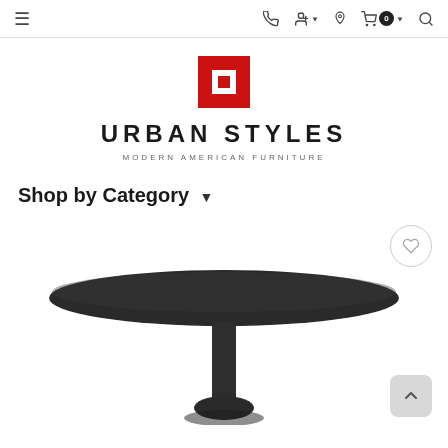Urban Styles navigation bar with menu, phone, account, location, cart (0), and search icons
[Figure (logo): Urban Styles logo: red square with white inner square, brand name URBAN STYLES, tagline MODERN AMERICAN FURNITURE]
Shop by Category ▾
[Figure (photo): Dark round table top with pedestal base, partially cropped at bottom of page. Wishlist heart icon button top right. Back-to-top arrow button bottom right.]